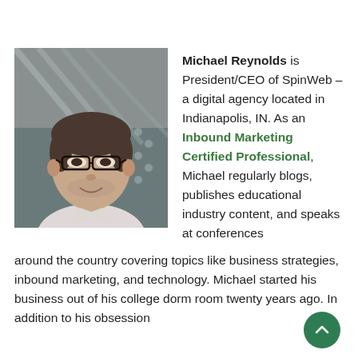[Figure (photo): Headshot of Michael Reynolds, a man with glasses and short dark hair, wearing a light shirt, smiling, with a modern building interior in the background.]
Michael Reynolds is President/CEO of SpinWeb – a digital agency located in Indianapolis, IN. As an Inbound Marketing Certified Professional, Michael regularly blogs, publishes educational industry content, and speaks at conferences around the country covering topics like business strategies, inbound marketing, and technology. Michael started his business out of his college dorm room twenty years ago. In addition to his obsession